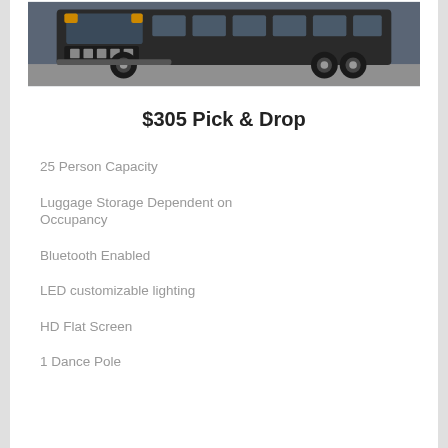[Figure (photo): Front view of a large black Ford shuttle bus/party bus on a street]
$305 Pick & Drop
25 Person Capacity
Luggage Storage Dependent on Occupancy
Bluetooth Enabled
LED customizable lighting
HD Flat Screen
1 Dance Pole